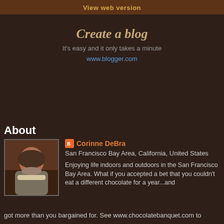View web version
Create a blog
It's easy and it only takes a minute
www.blogger.com
About
[Figure (photo): Profile photo of Corinne DeBra, a woman with short hair wearing a light-colored scarf, photographed indoors]
Corinne DeBra
San Francisco Bay Area, California, United States
Enjoying life indoors and outdoors in the San Francisco Bay Area. What if you accepted a bet that you couldn't eat a different chocolate for a year...and got more than you bargained for. See www.chocolatebanquet.com to